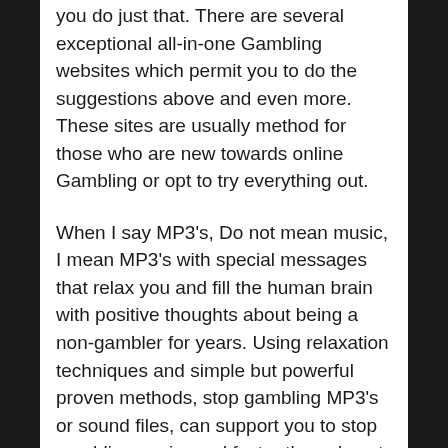you do just that. There are several exceptional all-in-one Gambling websites which permit you to do the suggestions above and even more. These sites are usually method for those who are new towards online Gambling or opt to try everything out.
When I say MP3's, Do not mean music, I mean MP3's with special messages that relax you and fill the human brain with positive thoughts about being a non-gambler for years. Using relaxation techniques and simple but powerful proven methods, stop gambling MP3's or sound files, can support you to stop gambling easier and faster than almost every other method. The advantage of these stop gambling MP3's is that they are actually available immediately, can be downloaded to your device that accept an MP3